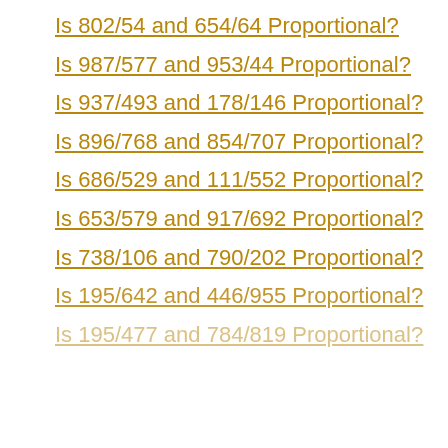Is 802/54 and 654/64 Proportional?
Is 987/577 and 953/44 Proportional?
Is 937/493 and 178/146 Proportional?
Is 896/768 and 854/707 Proportional?
Is 686/529 and 111/552 Proportional?
Is 653/579 and 917/692 Proportional?
Is 738/106 and 790/202 Proportional?
Is 195/642 and 446/955 Proportional?
Is 195/477 and 784/819 Proportional?